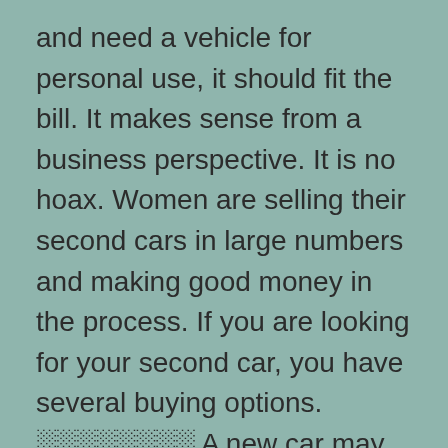and need a vehicle for personal use, it should fit the bill. It makes sense from a business perspective. It is no hoax. Women are selling their second cars in large numbers and making good money in the process. If you are looking for your second car, you have several buying options. ░░░░░░░░ A new car may fit the bill but it is a stretch.
If you have a bad credit score and need financing to purchase your next used car, it is even more of a reach. The 2008 market is flooded with manufacturers and dealerships willing to help you. Visit the experts in your